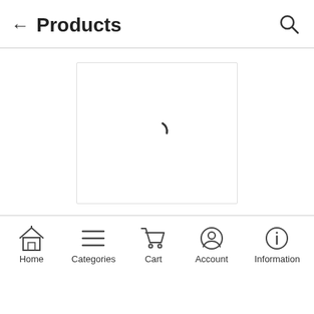← Products 🔍
[Figure (screenshot): Loading spinner (partial arc) inside a bordered card area]
Home  Categories  Cart  Account  Information